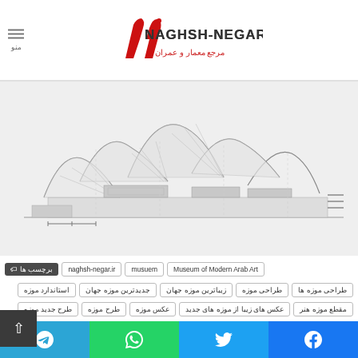naghsh-negar.ir — مرجع معمار و عمران logo header
[Figure (engineering-diagram): Architectural elevation drawing of a modern museum building with curved tensile roof structure, showing front facade with canopy forms]
برچسب ها | naghsh-negar.ir | musuem | Museum of Modern Arab Art
طراحی موزه ها | طراحی موزه | زیباترین موزه جهان | جدیدترین موزه جهان | استاندارد موزه
مقطع موزه هنر | عکس های زیبا از موزه های جدید | عکس موزه | طرح موزه | طرح جدید موزه
موزه هنر نو | موزه هنر نو عرب | نقش نگار | نقشه موزه | نقشه موزه هنر نو
Telegram | WhatsApp | Twitter | Facebook social share buttons